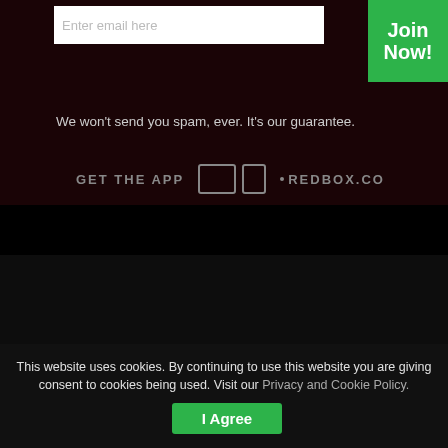Enter email here
Join Now!
We won't send you spam, ever. It's our guarantee.
GET THE APP   REDBOX.CO
[Figure (logo): 24/7 MarketNews logo with green upward arrow]
24/7 MarketNews is a leading market news platform for
This website uses cookies. By continuing to use this website you are giving consent to cookies being used. Visit our Privacy and Cookie Policy.
I Agree